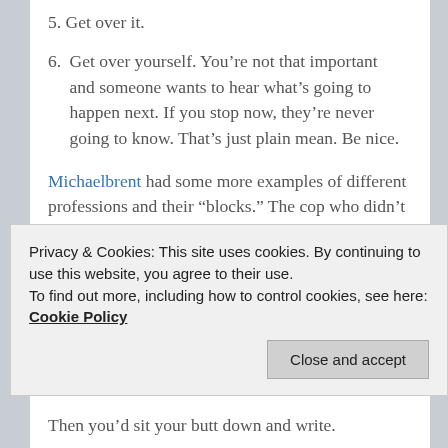5. Get over it.
6. Get over yourself. You’re not that important and someone wants to hear what’s going to happen next. If you stop now, they’re never going to know. That’s just plain mean. Be nice.
Michaelbrent had some more examples of different professions and their “blocks.” The cop who didn’t write you a ticket because he had “cop block.” What other professions could have blocks that just wouldn’t be allowed? I’m sure we could get a list going of just that and it would be a blast.
Privacy & Cookies: This site uses cookies. By continuing to use this website, you agree to their use. To find out more, including how to control cookies, see here: Cookie Policy
Then you’d sit your butt down and write.